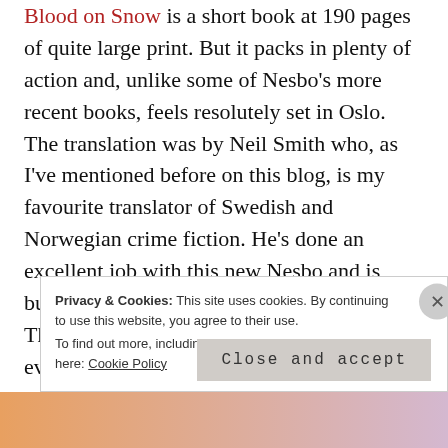Blood on Snow is a short book at 190 pages of quite large print. But it packs in plenty of action and, unlike some of Nesbo's more recent books, feels resolutely set in Oslo. The translation was by Neil Smith who, as I've mentioned before on this blog, is my favourite translator of Swedish and Norwegian crime fiction. He's done an excellent job with this new Nesbo and is busy translating the next book in the series. This, based on the blurb, promises to be an even more appealing read.
Privacy & Cookies: This site uses cookies. By continuing to use this website, you agree to their use. To find out more, including how to control cookies, see here: Cookie Policy
Close and accept